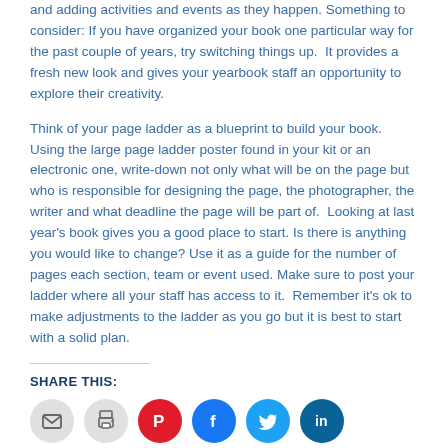and adding activities and events as they happen. Something to consider: If you have organized your book one particular way for the past couple of years, try switching things up.  It provides a fresh new look and gives your yearbook staff an opportunity to explore their creativity.
Think of your page ladder as a blueprint to build your book.  Using the large page ladder poster found in your kit or an electronic one, write-down not only what will be on the page but who is responsible for designing the page, the photographer, the writer and what deadline the page will be part of.  Looking at last year's book gives you a good place to start. Is there is anything you would like to change? Use it as a guide for the number of pages each section, team or event used. Make sure to post your ladder where all your staff has access to it.  Remember it's ok to make adjustments to the ladder as you go but it is best to start with a solid plan.
SHARE THIS:
[Figure (infographic): Row of social sharing icon buttons: email (gray), print (gray), Pinterest (red), Facebook (blue), Twitter (light blue), LinkedIn (dark blue)]
ARCHIVES
2022